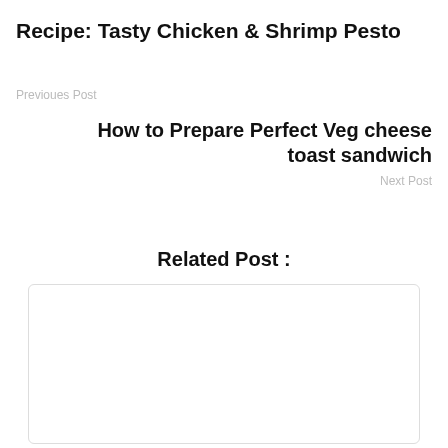Recipe: Tasty Chicken & Shrimp Pesto
Previoues Post
How to Prepare Perfect Veg cheese toast sandwich
Next Post
Related Post :
[Figure (other): Empty white box with rounded border, placeholder for related post image or content]